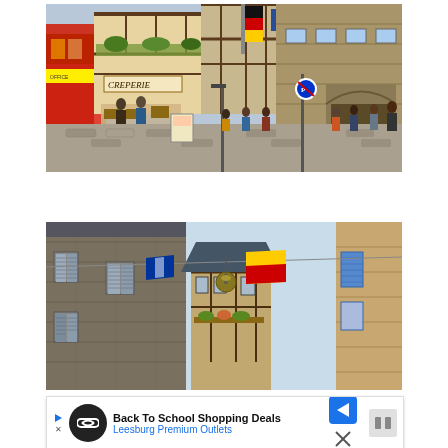[Figure (photo): Street scene of a French medieval town square with half-timbered buildings, a creperie restaurant with outdoor seating, a cobblestone street, pedestrians, and colorful flags including German and Breton flags. Stone archway visible on the right.]
[Figure (photo): Narrow street view of a French medieval town showing stone buildings with shuttered windows, dark slate rooftops, a hanging lantern, and colorful flags (red and yellow) strung across the street on a clear day.]
Back To School Shopping Deals
Leesburg Premium Outlets